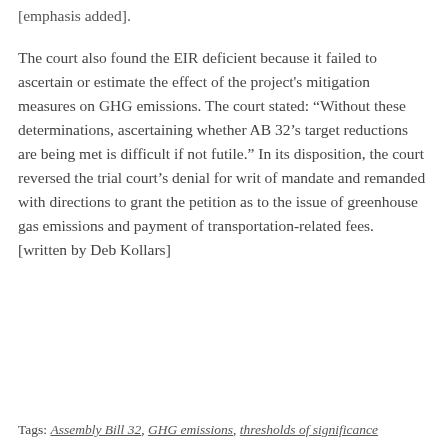[emphasis added].
The court also found the EIR deficient because it failed to ascertain or estimate the effect of the project's mitigation measures on GHG emissions. The court stated: “Without these determinations, ascertaining whether AB 32’s target reductions are being met is difficult if not futile.” In its disposition, the court reversed the trial court’s denial for writ of mandate and remanded with directions to grant the petition as to the issue of greenhouse gas emissions and payment of transportation-related fees. [written by Deb Kollars]
Tags: Assembly Bill 32, GHG emissions, thresholds of significance